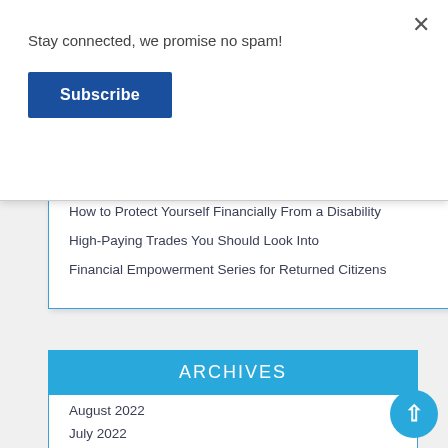Stay connected, we promise no spam!
Subscribe
×
How to Protect Yourself Financially From a Disability
High-Paying Trades You Should Look Into
Financial Empowerment Series for Returned Citizens
ARCHIVES
August 2022
July 2022